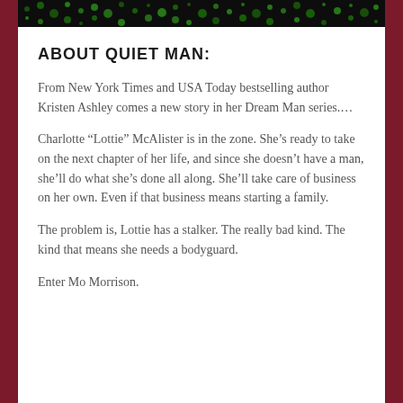[Figure (illustration): Dark decorative banner with green floral/ornamental pattern on black background spanning the top of the content area]
ABOUT QUIET MAN:
From New York Times and USA Today bestselling author Kristen Ashley comes a new story in her Dream Man series....
Charlotte “Lottie” McAlister is in the zone. She’s ready to take on the next chapter of her life, and since she doesn’t have a man, she’ll do what she’s done all along. She’ll take care of business on her own. Even if that business means starting a family.
The problem is, Lottie has a stalker. The really bad kind. The kind that means she needs a bodyguard.
Enter Mo Morrison.